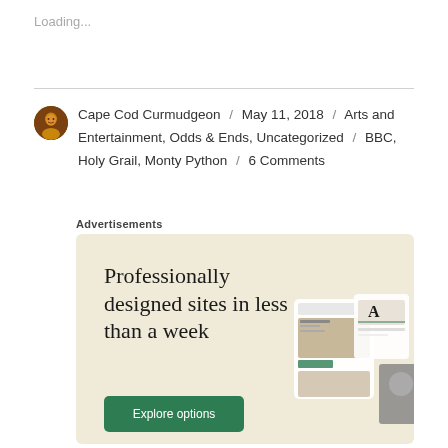Loading...
Cape Cod Curmudgeon / May 11, 2018 / Arts and Entertainment, Odds & Ends, Uncategorized / BBC, Holy Grail, Monty Python / 6 Comments
Advertisements
[Figure (infographic): Advertisement for professionally designed websites with headline 'Professionally designed sites in less than a week', a green 'Explore options' button, and screenshots of website designs on the right side, on a beige/cream background.]